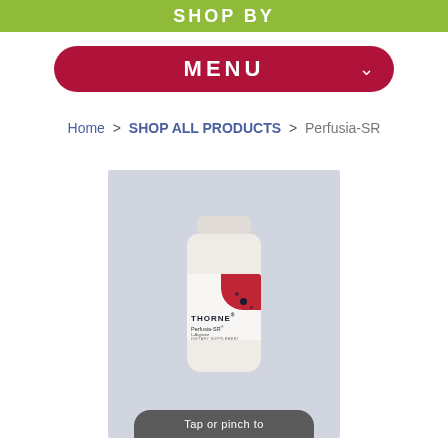SHOP BY
MENU
Home > SHOP ALL PRODUCTS > Perfusia-SR
[Figure (photo): A white bottle of Thorne Perfusia-SR dietary supplement with a colorful label featuring red graphic design elements, photographed on a grey background.]
Tap or pinch to